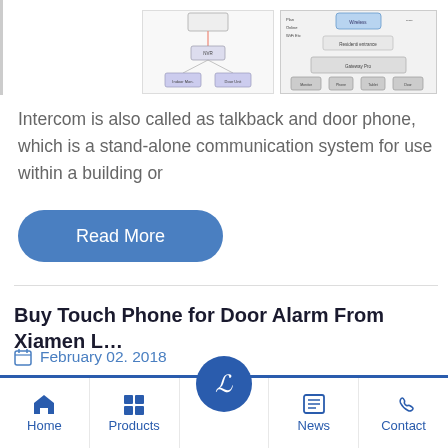[Figure (schematic): Two network/intercom system diagrams side by side showing device connections and residential entrance configurations]
Intercom is also called as talkback and door phone, which is a stand-alone communication system for use within a building or
Read More
Buy Touch Phone for Door Alarm From Xiamen L…
February 02. 2018
[Figure (photo): Close-up photo of a metal door intercom panel with camera and button components]
Home | Products | [logo] | News | Contact